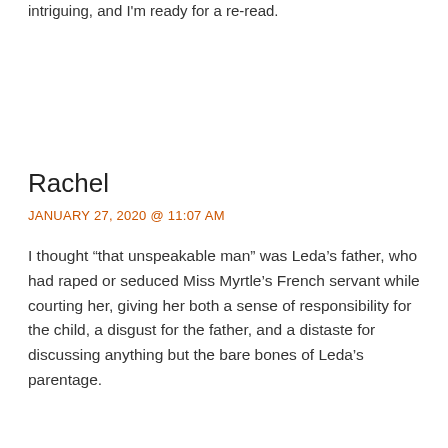intriguing, and I'm ready for a re-read.
Rachel
JANUARY 27, 2020 @ 11:07 AM
I thought “that unspeakable man” was Leda’s father, who had raped or seduced Miss Myrtle’s French servant while courting her, giving her both a sense of responsibility for the child, a disgust for the father, and a distaste for discussing anything but the bare bones of Leda’s parentage.